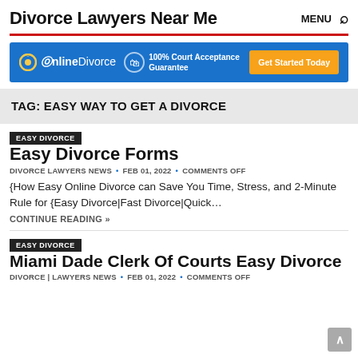Divorce Lawyers Near Me    MENU 🔍
[Figure (infographic): Online Divorce advertisement banner with blue background. Shows OnlineDivorce logo, '100% Court Acceptance Guarantee' text with shield icon, and orange 'Get Started Today' button.]
TAG: EASY WAY TO GET A DIVORCE
Easy Divorce Forms
DIVORCE LAWYERS NEWS • FEB 01, 2022 • COMMENTS OFF
{How Easy Online Divorce can Save You Time, Stress, and 2-Minute Rule for {Easy Divorce|Fast Divorce|Quick…
CONTINUE READING »
Miami Dade Clerk Of Courts Easy Divorce
DIVORCE | LAWYERS NEWS • FEB 01, 2022 • COMMENTS OFF